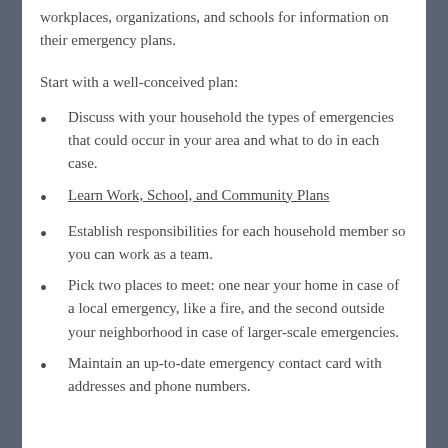workplaces, organizations, and schools for information on their emergency plans.
Start with a well-conceived plan:
Discuss with your household the types of emergencies that could occur in your area and what to do in each case.
Learn Work, School, and Community Plans
Establish responsibilities for each household member so you can work as a team.
Pick two places to meet: one near your home in case of a local emergency, like a fire, and the second outside your neighborhood in case of larger-scale emergencies.
Maintain an up-to-date emergency contact card with addresses and phone numbers.